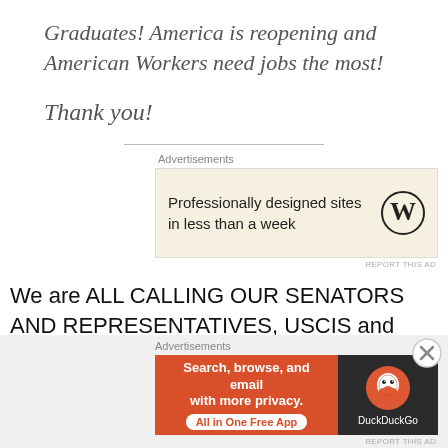Graduates! America is reopening and American Workers need jobs the most!
Thank you!
[Figure (other): Horizontal divider line]
Advertisements
[Figure (other): WordPress advertisement banner: Professionally designed sites in less than a week, with WordPress logo]
REPORT THIS AD
We are ALL CALLING OUR SENATORS AND REPRESENTATIVES, USCIS and the WHITE HOUSE! Every American is REQUIRED TO CALL! Your Parents, your School and College Friends, your
Advertisements
[Figure (other): DuckDuckGo advertisement: Search, browse, and email with more privacy. All in One Free App, with DuckDuckGo logo]
REPORT THIS AD